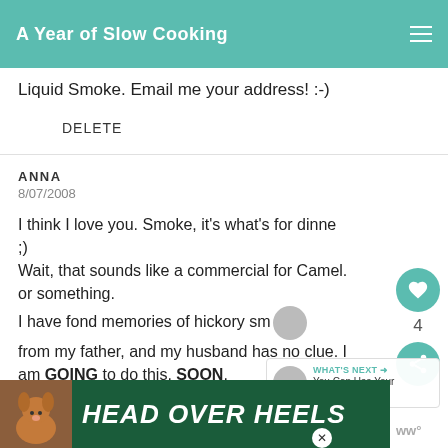A Year of Slow Cooking
Liquid Smoke. Email me your address! :-)
DELETE
ANNA
8/07/2008
I think I love you. Smoke, it's what's for dinner ;)
Wait, that sounds like a commercial for Camel. or something.
I have fond memories of hickory sm... from my father, and my husband has no clue. I am GOING to do this. SOON.
[Figure (screenshot): Ad banner reading HEAD OVER HEELS with dog image]